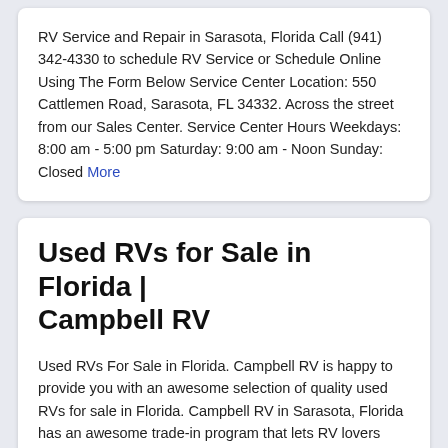RV Service and Repair in Sarasota, Florida Call (941) 342-4330 to schedule RV Service or Schedule Online Using The Form Below Service Center Location: 550 Cattlemen Road, Sarasota, FL 34332. Across the street from our Sales Center. Service Center Hours Weekdays: 8:00 am - 5:00 pm Saturday: 9:00 am - Noon Sunday: Closed More
Used RVs for Sale in Florida | Campbell RV
Used RVs For Sale in Florida. Campbell RV is happy to provide you with an awesome selection of quality used RVs for sale in Florida. Campbell RV in Sarasota, Florida has an awesome trade-in program that lets RV lovers consign their current RVs with us so that they can move up or change styles with ease. More